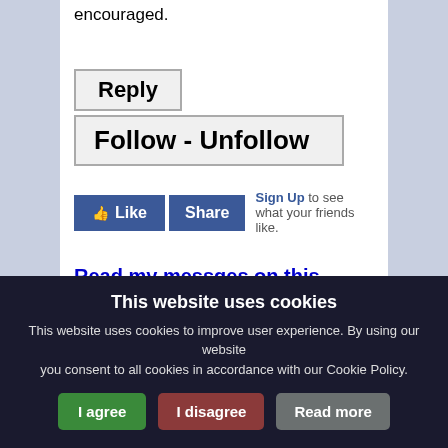encouraged.
Reply
Follow - Unfollow
[Figure (screenshot): Facebook Like and Share buttons with Sign Up link text: 'Sign Up to see what your friends like.']
Read my messges on this board
Read my messges anywhere
This website uses cookies
This website uses cookies to improve user experience. By using our website you consent to all cookies in accordance with our Cookie Policy.
I agree   I disagree   Read more